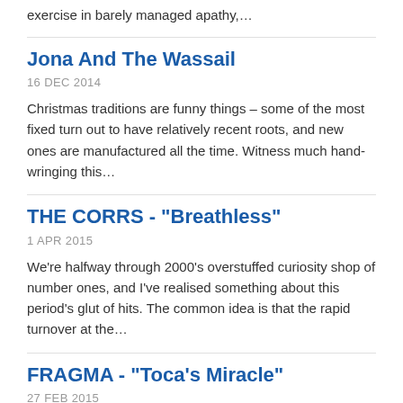exercise in barely managed apathy,…
Jona And The Wassail
16 DEC 2014
Christmas traditions are funny things – some of the most fixed turn out to have relatively recent roots, and new ones are manufactured all the time. Witness much hand-wringing this…
THE CORRS - "Breathless"
1 APR 2015
We're halfway through 2000's overstuffed curiosity shop of number ones, and I've realised something about this period's glut of hits. The common idea is that the rapid turnover at the…
FRAGMA - "Toca's Miracle"
27 FEB 2015
I don't know that turning a meat and potatoes trance tune into a dance-pop banger passes theological muster, but as pop miracles go it's a welcome intervention. Unless, that is,…